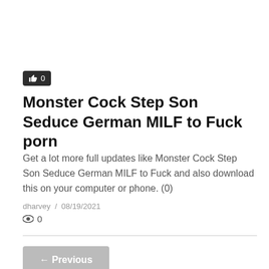[Figure (other): Like button with thumbs-up icon and count 0]
Monster Cock Step Son Seduce German MILF to Fuck porn
Get a lot more full updates like Monster Cock Step Son Seduce German MILF to Fuck and also download this on your computer or phone. (0)
dharvey  /  08/19/2021
👁 0
← Previous